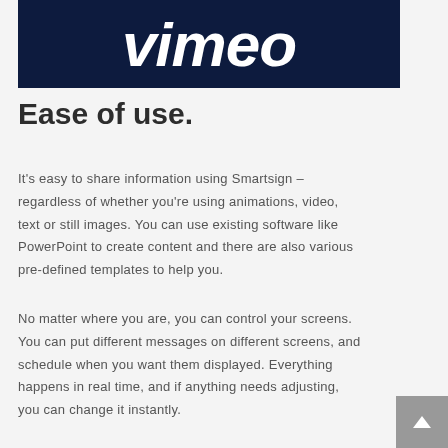[Figure (logo): Vimeo logo – white italic script text on dark navy blue background]
Ease of use.
It's easy to share information using Smartsign – regardless of whether you're using animations, video, text or still images. You can use existing software like PowerPoint to create content and there are also various pre-defined templates to help you.
No matter where you are, you can control your screens. You can put different messages on different screens, and schedule when you want them displayed. Everything happens in real time, and if anything needs adjusting, you can change it instantly.